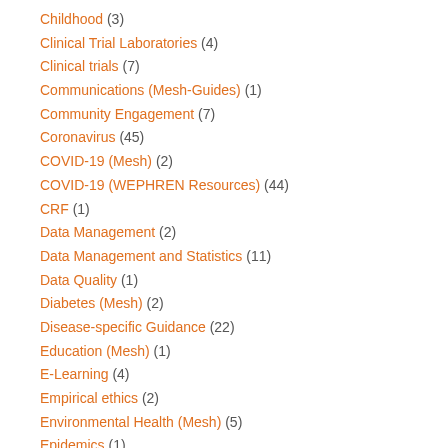Childhood (3)
Clinical Trial Laboratories (4)
Clinical trials (7)
Communications (Mesh-Guides) (1)
Community Engagement (7)
Coronavirus (45)
COVID-19 (Mesh) (2)
COVID-19 (WEPHREN Resources) (44)
CRF (1)
Data Management (2)
Data Management and Statistics (11)
Data Quality (1)
Diabetes (Mesh) (2)
Disease-specific Guidance (22)
Education (Mesh) (1)
E-Learning (4)
Empirical ethics (2)
Environmental Health (Mesh) (5)
Epidemics (1)
Ethical review (1)
Ethics and HIV (5)
Ethics and Informed Consent (4)